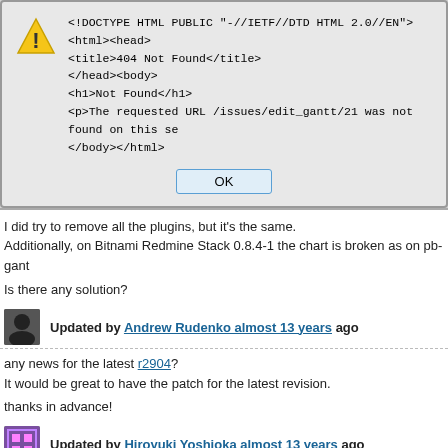[Figure (screenshot): Browser error dialog showing a 404 Not Found HTML response with a warning icon and OK button]
I did try to remove all the plugins, but it's the same.
Additionally, on Bitnami Redmine Stack 0.8.4-1 the chart is broken as on pb-gant
Is there any solution?
Updated by Andrew Rudenko almost 13 years ago
any news for the latest r2904?
It would be great to have the patch for the latest revision.
thanks in advance!
Updated by Hiroyuki Yoshioka almost 13 years ago
File gantt-editting-fixed-display-trouble.patch added
Andrey Kostrov wrote:
I did try to remove all the plugins, but it's the same.
Additionally, on Bitnami Redmine Stack 0.8.4-1 the chart is broken se